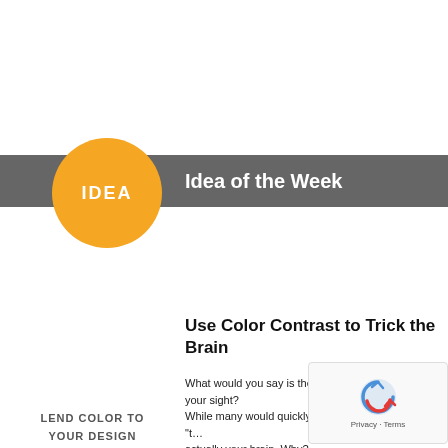Idea of the Week
Use Color Contrast to Trick the Brain
LEND COLOR TO YOUR DESIGN
What would you say is the primary organ used for your sight? While many would quickly answer that question with "the eyes," it's actually your brain. Why?
Because while your eyes do collect visual information, it is the mastermind behind it that interprets the data in a way that is meaningful to you.
You can manipulate the brain to your advantage in your designs by merely adjusting the hue, value, and saturation of different colors.
Color Theory Basics
As you get started with your next design, understanding the basics of color theory can be helpful.
Did you know that the human eye adjusts when focusing...